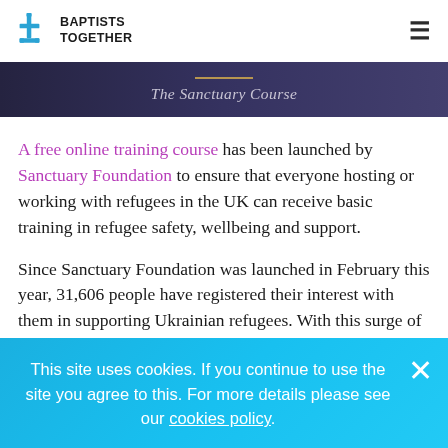Baptists Together
The Sanctuary Course
A free online training course has been launched by Sanctuary Foundation to ensure that everyone hosting or working with refugees in the UK can receive basic training in refugee safety, wellbeing and support.
Since Sanctuary Foundation was launched in February this year, 31,606 people have registered their interest with them in supporting Ukrainian refugees. With this surge of interest in refugee support, it was important to
This site uses cookies. If you continue to use the site you agree to this. For more details please see our cookies policy.